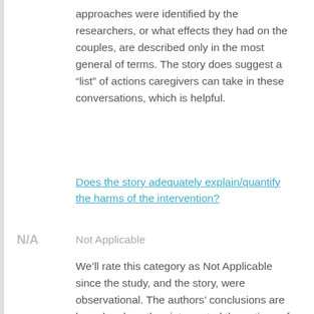approaches were identified by the researchers, or what effects they had on the couples, are described only in the most general of terms. The story does suggest a “list” of actions caregivers can take in these conversations, which is helpful.
Does the story adequately explain/quantify the harms of the intervention?
N/A
Not Applicable
We’ll rate this category as Not Applicable since the study, and the story, were observational. The authors’ conclusions are based on how they interpreted the actions of caregivers during conversations with spouses that seemed to result in more favorable...